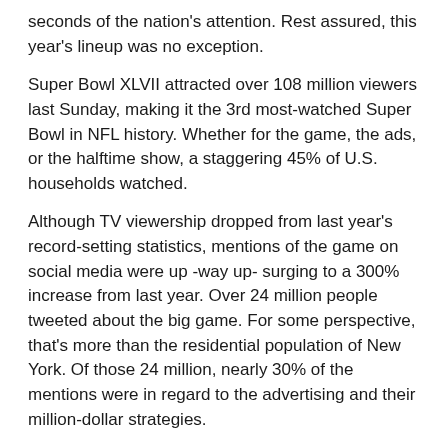seconds of the nation's attention. Rest assured, this year's lineup was no exception.
Super Bowl XLVII attracted over 108 million viewers last Sunday, making it the 3rd most-watched Super Bowl in NFL history. Whether for the game, the ads, or the halftime show, a staggering 45% of U.S. households watched.
Although TV viewership dropped from last year's record-setting statistics, mentions of the game on social media were up -way up- surging to a 300% increase from last year. Over 24 million people tweeted about the big game. For some perspective, that's more than the residential population of New York. Of those 24 million, nearly 30% of the mentions were in regard to the advertising and their million-dollar strategies.
So, without further adieu, here are some of our favorites and a few others that scored a home run...wait...wrong sport.
Most “Feel-Good” Ad: Budweiser’s “Brotherhood.”
In most circumstances, this ad spot would be weird. But to